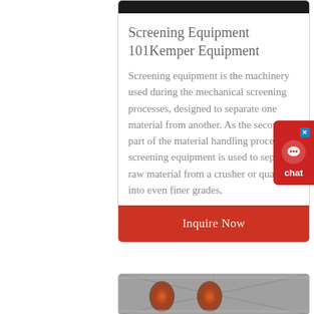[Figure (photo): Dark grayscale image at top of card, likely industrial equipment]
Screening Equipment 101Kemper Equipment
Screening equipment is the machinery used during the mechanical screening processes, designed to separate one material from another. As the second part of the material handling process, screening equipment is used to separate raw material from a crusher or quarry into even finer grades,
Inquire Now
[Figure (photo): Photo of industrial spiral/coil equipment with metal framework]